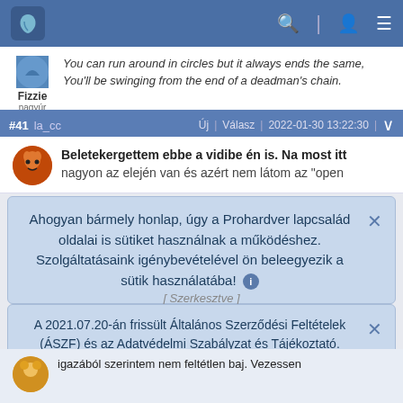[Figure (screenshot): Forum website navigation bar with logo, search icon, user icon, and menu icon on blue background]
Fizzie
nagyúr
You can run around in circles but it always ends the same,
You'll be swinging from the end of a deadman's chain.
#41 la_cc   Új | Válasz | 2022-01-30 13:22:30
Beletekergettem ebbe a vidibe én is. Na most itt nagyon az elején van és azért nem látom az "open
Ahogyan bármely honlap, úgy a Prohardver lapcsalád oldalai is sütiket használnak a működéshez. Szolgáltatásaink igénybevételével ön beleegyezik a sütik használatába! ℹ
[ Szerkesztve ]
A 2021.07.20-án frissült Általános Szerződési Feltételek (ÁSZF) és az Adatvédelmi Szabályzat és Tájékoztató. Szolgáltatásaink igénybevételével ön elismeri, hogy e dokumentumokat elolvasta és elfogadja.
igazából szerintem nem feltétlen baj. Vezessen